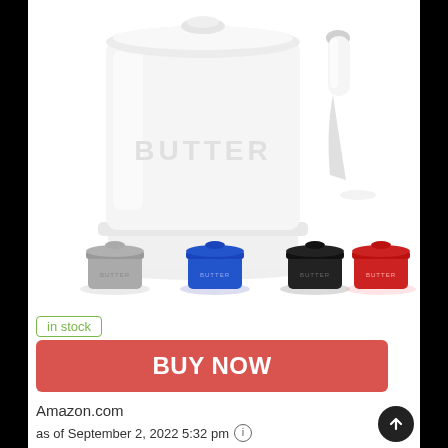[Figure (photo): White ceramic butter crock with embossed BUTTER text and a white-handled butter knife/spreader. Below it are four smaller color variant butter crocks in gray, blue, black, and red.]
in stock
BUY NOW
Amazon.com
as of September 2, 2022 5:32 pm ℹ